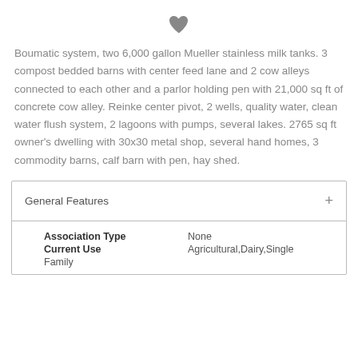[Figure (illustration): Heart icon / favorite button]
Boumatic system, two 6,000 gallon Mueller stainless milk tanks. 3 compost bedded barns with center feed lane and 2 cow alleys connected to each other and a parlor holding pen with 21,000 sq ft of concrete cow alley. Reinke center pivot, 2 wells, quality water, clean water flush system, 2 lagoons with pumps, several lakes. 2765 sq ft owner's dwelling with 30x30 metal shop, several hand homes, 3 commodity barns, calf barn with pen, hay shed.
General Features
| Feature | Value |
| --- | --- |
| Association Type | None |
| Current Use | Agricultural,Dairy,Single Family |